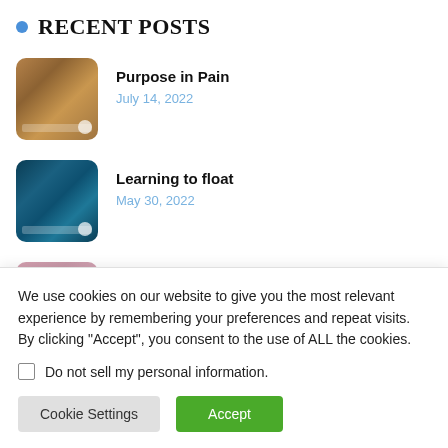Recent Posts
Purpose in Pain — July 14, 2022
Learning to float — May 30, 2022
The diamond secret
We use cookies on our website to give you the most relevant experience by remembering your preferences and repeat visits. By clicking “Accept”, you consent to the use of ALL the cookies.
Do not sell my personal information.
Cookie Settings
Accept